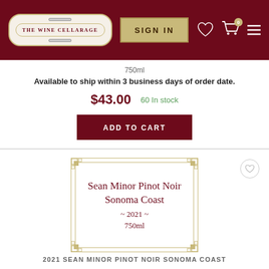THE WINE CELLARAGE — SIGN IN
750ml
Available to ship within 3 business days of order date.
$43.00  60 In stock
ADD TO CART
[Figure (illustration): Wine bottle label with decorative gold border corners reading: Sean Minor Pinot Noir Sonoma Coast ~ 2021 ~ 750ml]
2021 SEAN MINOR PINOT NOIR SONOMA COAST